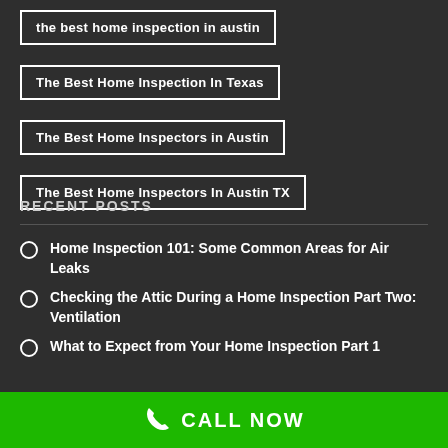the best home inspection in austin
The Best Home Inspection In Texas
The Best Home Inspectors in Austin
The Best Home Inspectors In Austin TX
RECENT POSTS
Home Inspection 101: Some Common Areas for Air Leaks
Checking the Attic During a Home Inspection Part Two: Ventilation
What to Expect from Your Home Inspection Part 1
CALL NOW